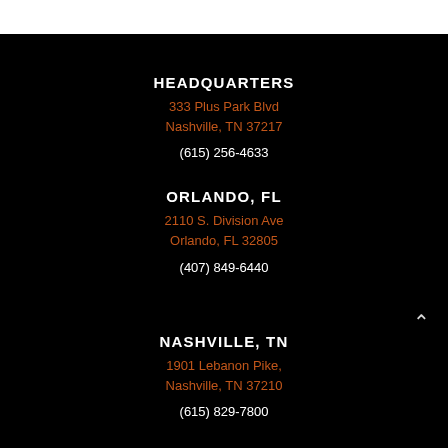HEADQUARTERS
333 Plus Park Blvd
Nashville, TN 37217
(615) 256-4633
ORLANDO, FL
2110 S. Division Ave
Orlando, FL 32805
(407) 849-6440
NASHVILLE, TN
1901 Lebanon Pike,
Nashville, TN 37210
(615) 829-7800